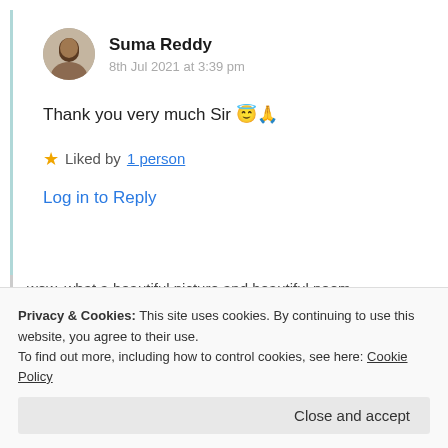Suma Reddy
8th Jul 2021 at 3:39 pm
Thank you very much Sir 😇🙏
★ Liked by 1 person
Log in to Reply
Privacy & Cookies: This site uses cookies. By continuing to use this website, you agree to their use. To find out more, including how to control cookies, see here: Cookie Policy
Close and accept
wow, what a beautiful picture and beautiful poem.